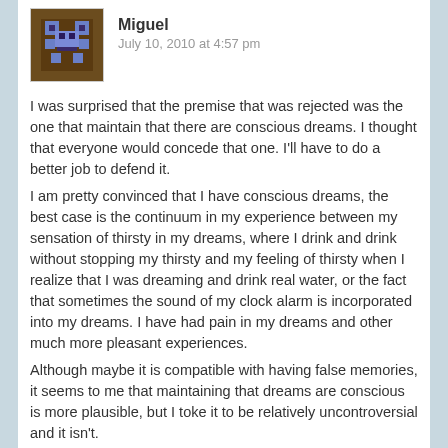[Figure (illustration): Pixel art avatar of a brown and blue creature/robot on a dark brown background]
Miguel
July 10, 2010 at 4:57 pm
I was surprised that the premise that was rejected was the one that maintain that there are conscious dreams. I thought that everyone would concede that one. I'll have to do a better job to defend it.
I am pretty convinced that I have conscious dreams, the best case is the continuum in my experience between my sensation of thirsty in my dreams, where I drink and drink without stopping my thirsty and my feeling of thirsty when I realize that I was dreaming and drink real water, or the fact that sometimes the sound of my clock alarm is incorporated into my dreams. I have had pain in my dreams and other much more pleasant experiences.
Although maybe it is compatible with having false memories, it seems to me that maintaining that dreams are conscious is more plausible, but I toke it to be relatively uncontroversial and it isn't.
Hakwan's result points in the direction of DLPFC (obviously